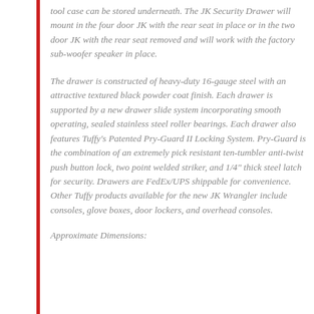tool case can be stored underneath. The JK Security Drawer will mount in the four door JK with the rear seat in place or in the two door JK with the rear seat removed and will work with the factory sub-woofer speaker in place.
The drawer is constructed of heavy-duty 16-gauge steel with an attractive textured black powder coat finish. Each drawer is supported by a new drawer slide system incorporating smooth operating, sealed stainless steel roller bearings. Each drawer also features Tuffy's Patented Pry-Guard II Locking System. Pry-Guard is the combination of an extremely pick resistant ten-tumbler anti-twist push button lock, two point welded striker, and 1/4" thick steel latch for security. Drawers are FedEx/UPS shippable for convenience. Other Tuffy products available for the new JK Wrangler include consoles, glove boxes, door lockers, and overhead consoles.
Approximate Dimensions: